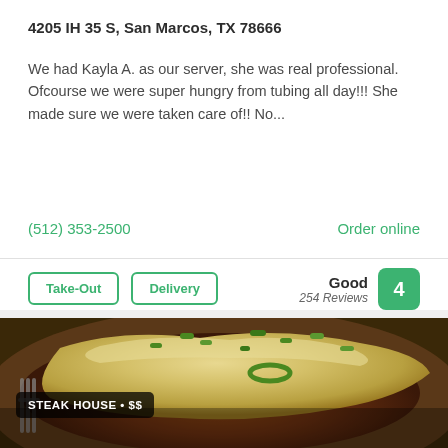4205 IH 35 S, San Marcos, TX 78666
We had Kayla A. as our server, she was real professional. Ofcourse we were super hungry from tubing all day!!! She made sure we were taken care of!! No...
(512) 353-2500
Order online
Take-Out
Delivery
Good 254 Reviews 4
[Figure (photo): Close-up photo of a steak dish topped with melted cheese and chopped green onions, served on a plate with a fork visible. A dark overlay badge reads 'STEAK HOUSE • $$'.]